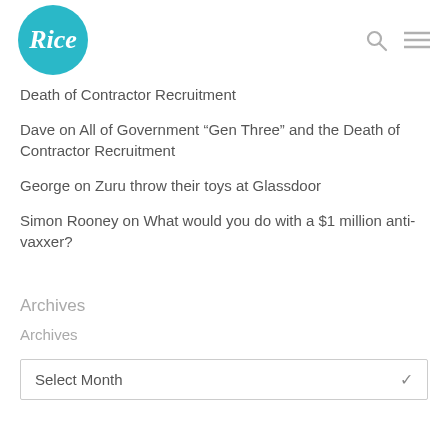Rice
Death of Contractor Recruitment
Dave on All of Government “Gen Three” and the Death of Contractor Recruitment
George on Zuru throw their toys at Glassdoor
Simon Rooney on What would you do with a $1 million anti-vaxxer?
Archives
Archives
Select Month